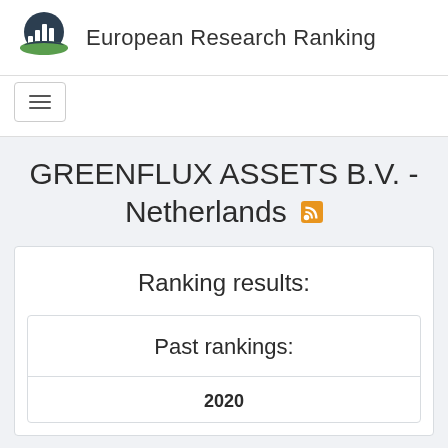European Research Ranking
GREENFLUX ASSETS B.V. - Netherlands
Ranking results:
Past rankings:
2020